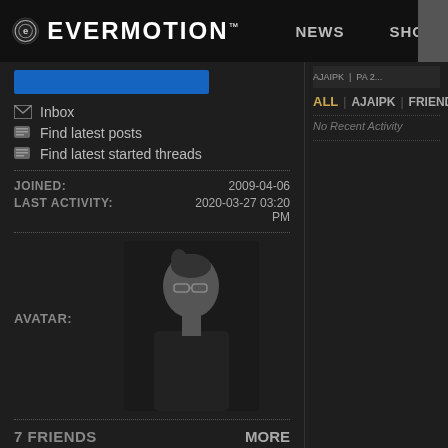EVERMOTION™  NEWS  SHOP
[Figure (screenshot): Blue input bar / search field]
Inbox
Find latest posts
Find latest started threads
JOINED: 2009-04-06
LAST ACTIVITY: 2020-03-27 03:20 PM
[Figure (photo): User avatar photo: person with glasses and dark shirt]
AVATAR:
7 FRIENDS   MORE
[Figure (photo): Friend avatar: JO 7 - person in pink shirt]
JO 7
[Figure (photo): Friend avatar: IAMANOOPD - person in white shirt]
IAMANOOPD.
[Figure (photo): Friend avatar: JZHONEY - person with teal hair]
JZHONEY
ALL | AJAIPK | FRIENDS
No Recent Activity